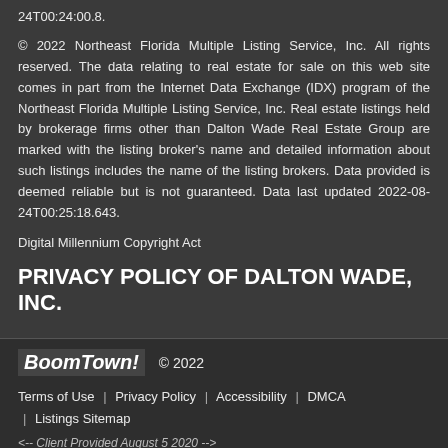24T00:24:00.8.
© 2022 Northeast Florida Multiple Listing Service, Inc. All rights reserved. The data relating to real estate for sale on this web site comes in part from the Internet Data Exchange (IDX) program of the Northeast Florida Multiple Listing Service, Inc. Real estate listings held by brokerage firms other than Dalton Wade Real Estate Group are marked with the listing broker's name and detailed information about such listings includes the name of the listing brokers. Data provided is deemed reliable but is not guaranteed. Data last updated 2022-08-24T00:25:18.643.
Digital Millennium Copyright Act
PRIVACY POLICY OF DALTON WADE, INC.
BoomTown! © 2022 | Terms of Use | Privacy Policy | Accessibility | DMCA | Listings Sitemap | <-- Client Provided August 5 2020 -->